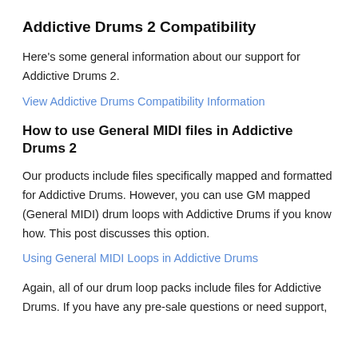Addictive Drums 2 Compatibility
Here's some general information about our support for Addictive Drums 2.
View Addictive Drums Compatibility Information
How to use General MIDI files in Addictive Drums 2
Our products include files specifically mapped and formatted for Addictive Drums. However, you can use GM mapped (General MIDI) drum loops with Addictive Drums if you know how. This post discusses this option.
Using General MIDI Loops in Addictive Drums
Again, all of our drum loop packs include files for Addictive Drums. If you have any pre-sale questions or need support,